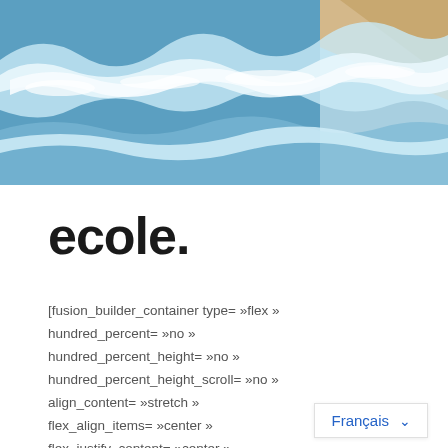[Figure (photo): Aerial view of ocean waves crashing on a sandy beach, blue and white water with sandy shore visible in upper right corner]
ecole.
[fusion_builder_container type= »flex » hundred_percent= »no » hundred_percent_height= »no » hundred_percent_height_scroll= »no » align_content= »stretch » flex_align_items= »center » flex_justify_content= »center » hundred_percent_height_center_content= »yes » equal_height_columns= »no » container_tag= »div » hide_
Français ∨